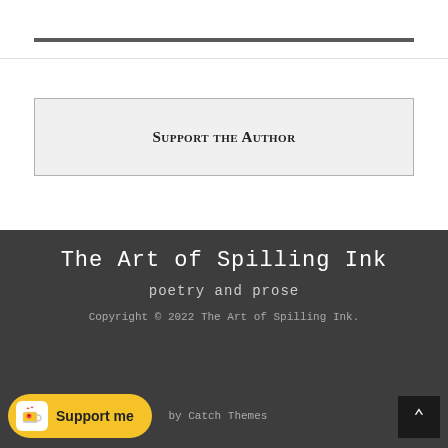Support the Author
The Art of Spilling Ink
poetry and prose
Copyright © 2022 The Art of Spilling Ink.
Support me · by Catch Themes